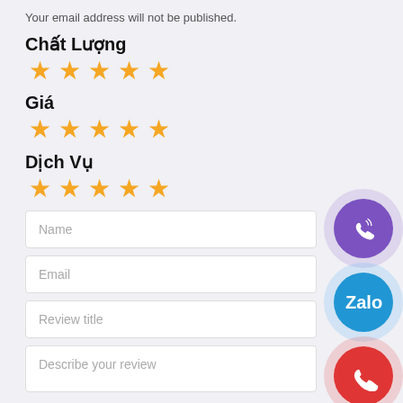Your email address will not be published.
Chất Lượng
[Figure (other): 5 gold stars rating for Chất Lượng]
Giá
[Figure (other): 5 gold stars rating for Giá]
Dịch Vụ
[Figure (other): 5 gold stars rating for Dịch Vụ]
Name
Email
Review title
Describe your review
[Figure (other): Viber call button - purple circle with phone icon]
[Figure (other): Zalo button - blue circle with Zalo logo]
[Figure (other): Phone call button - red circle with phone icon]